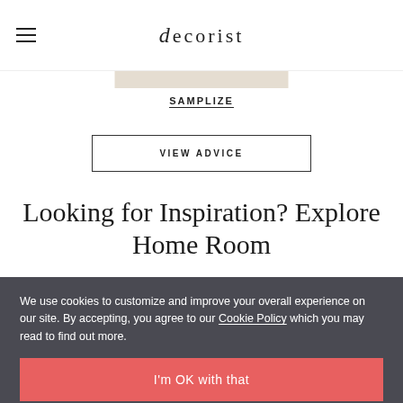decorist
[Figure (other): Tan/beige horizontal decorative bar, partial view of product swatch area]
SAMPLIZE
VIEW ADVICE
Looking for Inspiration? Explore Home Room
We use cookies to customize and improve your overall experience on our site. By accepting, you agree to our Cookie Policy which you may read to find out more.
I'm OK with that
Update my preferences
[Figure (screenshot): Dark screenshot preview of Decorist website showing a person and italic text 'Lesson in beautiful living']